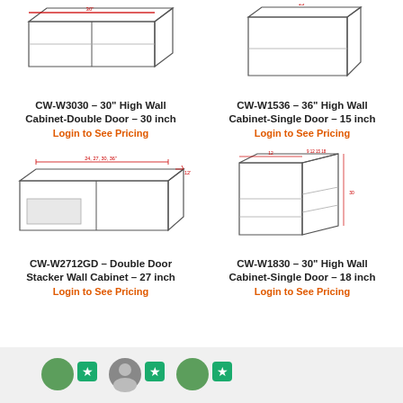[Figure (engineering-diagram): CW-W3030 30 inch High Wall Cabinet Double Door schematic diagram with dimension arrows]
CW-W3030 – 30" High Wall Cabinet-Double Door – 30 inch
Login to See Pricing
[Figure (engineering-diagram): CW-W1536 36 inch High Wall Cabinet Single Door schematic diagram with dimension arrows]
CW-W1536 – 36" High Wall Cabinet-Single Door – 15 inch
Login to See Pricing
[Figure (engineering-diagram): CW-W2712GD Double Door Stacker Wall Cabinet 27 inch schematic with dimension labels 24,27,30,36 and 12]
CW-W2712GD – Double Door Stacker Wall Cabinet – 27 inch
Login to See Pricing
[Figure (engineering-diagram): CW-W1830 30 inch High Wall Cabinet Single Door 18 inch open corner cabinet schematic with dimension arrows]
CW-W1830 – 30" High Wall Cabinet-Single Door – 18 inch
Login to See Pricing
[Figure (photo): Bottom bar with user avatars and green star rating badges]